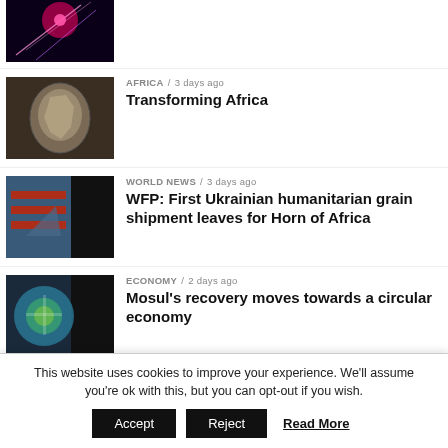[Figure (photo): Thumbnail image – abstract physics/light streaks on dark background (partial, cropped at top)]
AFRICA / 3 days ago
Transforming Africa
[Figure (photo): Thumbnail – globe/map image showing continents]
WORLD NEWS / 3 days ago
WFP: First Ukrainian humanitarian grain shipment leaves for Horn of Africa
[Figure (photo): Thumbnail – cargo/shipping scene with dark overlay]
ECONOMY / 2 days ago
Mosul's recovery moves towards a circular economy
[Figure (photo): Thumbnail – aerial view of circular city or market]
MIDDLE EAST / 2 days ago
[Figure (photo): Thumbnail – partial, cropped at bottom]
This website uses cookies to improve your experience. We'll assume you're ok with this, but you can opt-out if you wish.